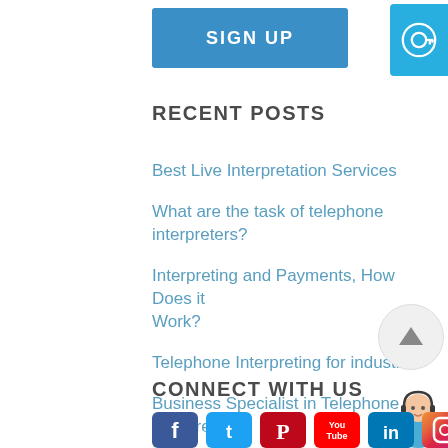[Figure (other): Blue SIGN UP button]
[Figure (other): Cyan key/login icon button in top right corner]
RECENT POSTS
Best Live Interpretation Services
What are the task of telephone interpreters?
Interpreting and Payments, How Does it Work?
Telephone Interpreting for industries
Business Specialist in Telephone Interpreting
CONNECT WITH US
[Figure (other): Social media icons: Facebook, Twitter, Pinterest, YouTube, LinkedIn, Instagram]
[Figure (other): Scroll to top button (arrow up) and chat widget with customer service agent]